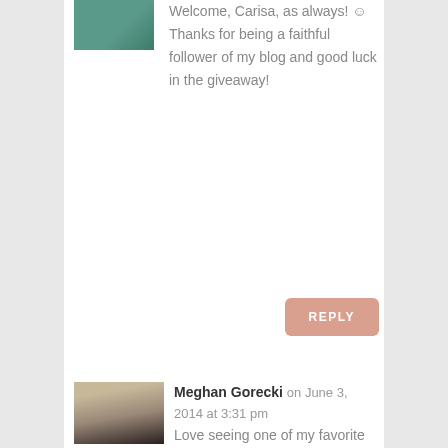[Figure (photo): Partial avatar image at top left, cropped, showing a person in teal/green top]
Welcome, Carisa, as always! ☺ Thanks for being a faithful follower of my blog and good luck in the giveaway!
REPLY
[Figure (photo): Avatar photo of Meghan Gorecki, a woman with glasses smiling, city background]
Meghan Gorecki on June 3, 2014 at 3:31 pm
Love seeing one of my favorite authors on one of my favorite blogs!